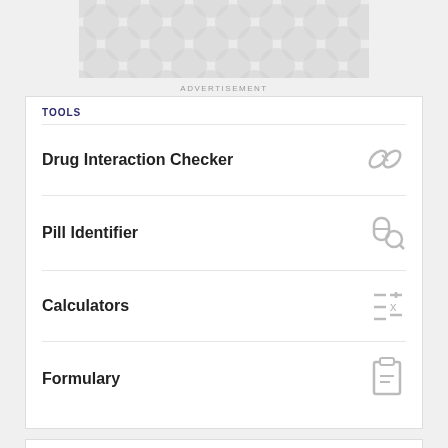[Figure (other): Advertisement banner with decorative circular pattern]
ADVERTISEMENT
TOOLS
Drug Interaction Checker
Pill Identifier
Calculators
Formulary
SLIDESHOW
FDA Drug Approvals and Changes: August Edition
FDA Drug Approvals and Changes: